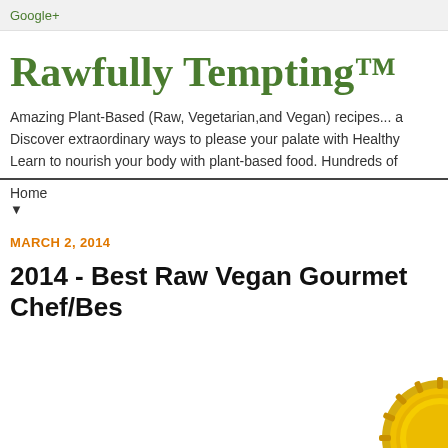Google+
Rawfully Tempting™
Amazing Plant-Based (Raw, Vegetarian,and Vegan) recipes... a Discover extraordinary ways to please your palate with Healthy Learn to nourish your body with plant-based food. Hundreds of
Home ▼
MARCH 2, 2014
2014 - Best Raw Vegan Gourmet Chef/Bes
[Figure (photo): Partial gold award medallion visible in bottom right corner]